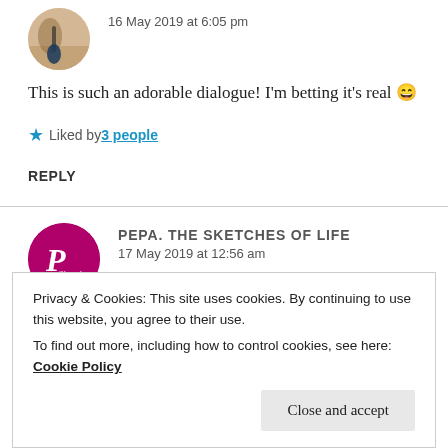16 May 2019 at 6:05 pm
This is such an adorable dialogue! I'm betting it's real 😄
★ Liked by 3 people
REPLY
PEPA. THE SKETCHES OF LIFE
17 May 2019 at 12:56 am
Privacy & Cookies: This site uses cookies. By continuing to use this website, you agree to their use.
To find out more, including how to control cookies, see here: Cookie Policy